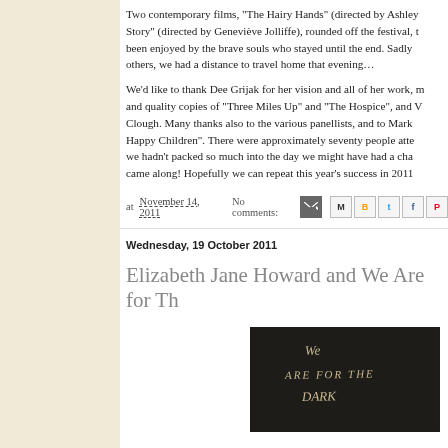Two contemporary films, "The Hairy Hands" (directed by Ashley Story" (directed by Geneviève Jolliffe), rounded off the festival, t been enjoyed by the brave souls who stayed until the end. Sadly others, we had a distance to travel home that evening…
We'd like to thank Dee Grijak for her vision and all of her work, r and quality copies of "Three Miles Up" and "The Hospice", and V Clough. Many thanks also to the various panellists, and to Mark Happy Children". There were approximately seventy people atte we hadn't packed so much into the day we might have had a ch came along! Hopefully we can repeat this year's success in 201
at November 14, 2011   No comments:
Wednesday, 19 October 2011
Elizabeth Jane Howard and We Are for Th
[Figure (photo): Book cover showing 'We Are for the Dark' text on dark background]